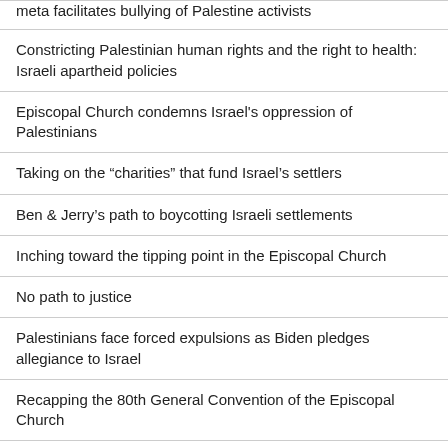meta facilitates bullying of Palestine activists
Constricting Palestinian human rights and the right to health: Israeli apartheid policies
Episcopal Church condemns Israel's oppression of Palestinians
Taking on the “charities” that fund Israel’s settlers
Ben & Jerry’s path to boycotting Israeli settlements
Inching toward the tipping point in the Episcopal Church
No path to justice
Palestinians face forced expulsions as Biden pledges allegiance to Israel
Recapping the 80th General Convention of the Episcopal Church